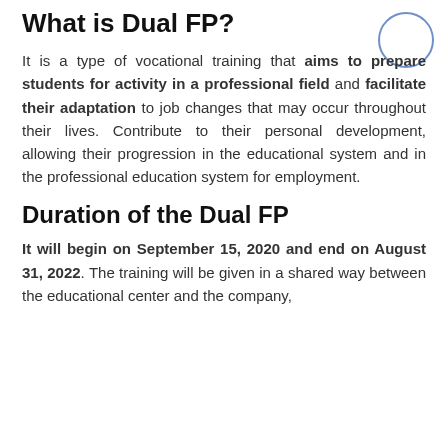What is Dual FP?
It is a type of vocational training that aims to prepare students for activity in a professional field and facilitate their adaptation to job changes that may occur throughout their lives. Contribute to their personal development, allowing their progression in the educational system and in the professional education system for employment.
Duration of the Dual FP
It will begin on September 15, 2020 and end on August 31, 2022. The training will be given in a shared way between the educational center and the company,